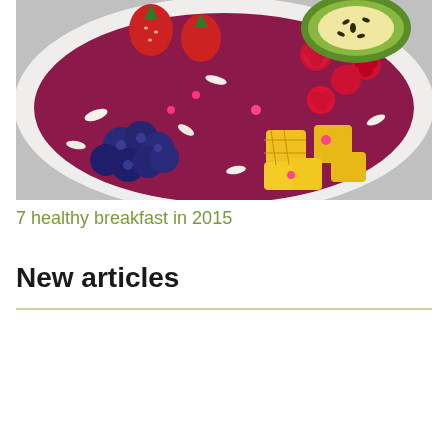[Figure (photo): A white bowl filled with colorful fresh fruits including strawberries, blueberries, raspberries, kiwi, pineapple chunks, and coconut flakes on a red/purple smoothie base]
7 healthy breakfast in 2015
New articles